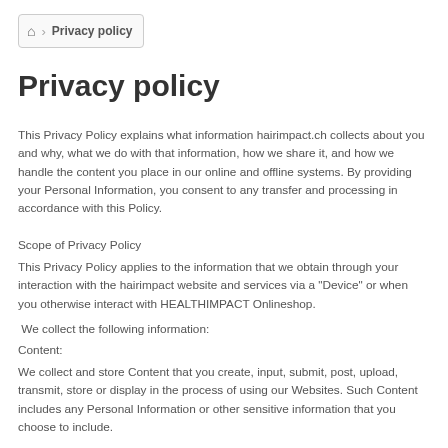Privacy policy
Privacy policy
This Privacy Policy explains what information hairimpact.ch collects about you and why, what we do with that information, how we share it, and how we handle the content you place in our online and offline systems. By providing your Personal Information, you consent to any transfer and processing in accordance with this Policy.
Scope of Privacy Policy
This Privacy Policy applies to the information that we obtain through your interaction with the hairimpact website and services via a "Device" or when you otherwise interact with HEALTHIMPACT Onlineshop.
We collect the following information:
Content:
We collect and store Content that you create, input, submit, post, upload, transmit, store or display in the process of using our Websites. Such Content includes any Personal Information or other sensitive information that you choose to include.